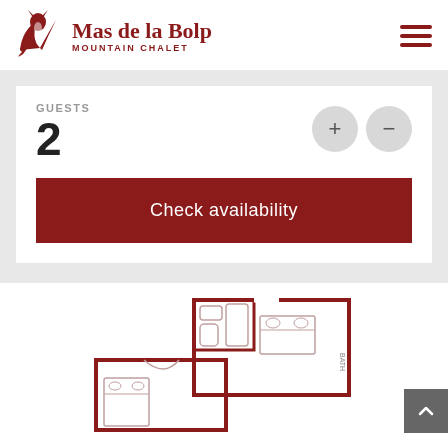[Figure (logo): Mas de la Bolp Mountain Chalet logo with fox SVG icon in dark red and text]
GUESTS
2
Check availability
[Figure (engineering-diagram): Partial floor plan of a mountain chalet room showing walls, bathroom, and bedroom layout in dark red lines on white background]